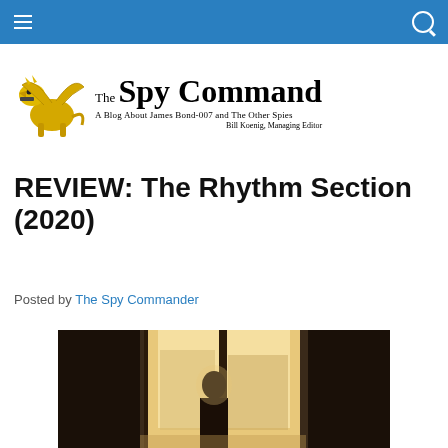The Spy Command – Navigation bar
[Figure (logo): The Spy Command blog logo with golden griffin mascot holding a gun. Text reads 'The Spy Command – A Blog About James Bond-007 and The Other Spies. Bill Koenig, Managing Editor']
REVIEW: The Rhythm Section (2020)
Posted by The Spy Commander
[Figure (photo): A silhouetted person standing at open double windows against a bright backlit outdoor view of a city street]